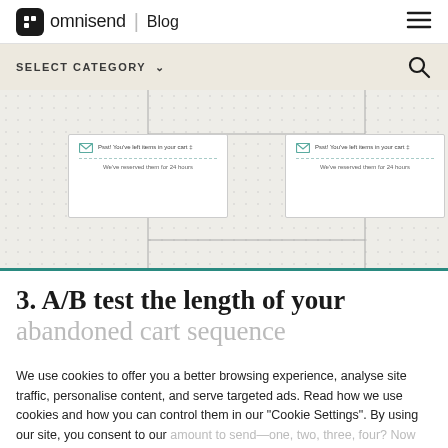omnisend | Blog
SELECT CATEGORY
[Figure (screenshot): Two email mockup boxes showing 'Psst! You've left items in your cart' abandoned cart email previews, connected by lines, shown in a dotted workflow diagram area]
3. A/B test the length of your abandoned cart sequence
We use cookies to offer you a better browsing experience, analyse site traffic, personalise content, and serve targeted ads. Read how we use cookies and how you can control them in our "Cookie Settings". By using our site, you consent to our